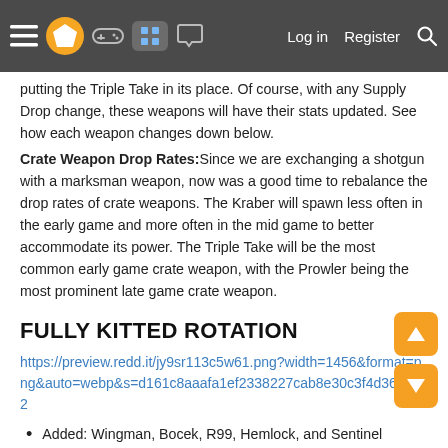Navigation bar with menu, logo, gamepad, grid, chat icons, and Log in / Register / Search links
putting the Triple Take in its place. Of course, with any Supply Drop change, these weapons will have their stats updated. See how each weapon changes down below.
Crate Weapon Drop Rates: Since we are exchanging a shotgun with a marksman weapon, now was a good time to rebalance the drop rates of crate weapons. The Kraber will spawn less often in the early game and more often in the mid game to better accommodate its power. The Triple Take will be the most common early game crate weapon, with the Prowler being the most prominent late game crate weapon.
FULLY KITTED ROTATION
https://preview.redd.it/jy9sr113c5w61.png?width=1456&format=png&auto=webp&s=d161c8aaafa1ef2338227cab8e30c3f4d3627bc2
Added: Wingman, Bocek, R99, Hemlock, and Sentinel
Removed: R301, 30-30 Repeater, Mozambique, Longbow DMR, and Spitfire
HOP UPS